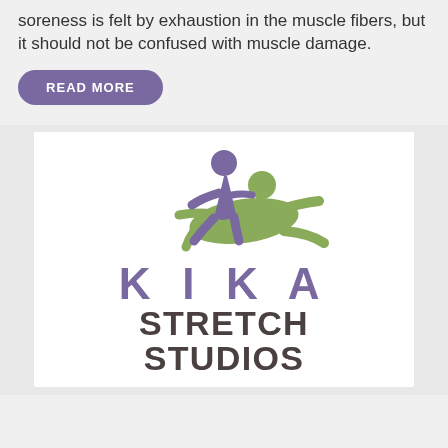soreness is felt by exhaustion in the muscle fibers, but it should not be confused with muscle damage.
READ MORE
[Figure (logo): Kika Stretch Studios logo: two stylized figures (one purple kneeling, one green stretching) with text 'KIKA STRETCH STUDIOS' below.]